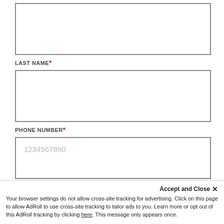[Figure (screenshot): Web form input field (top, no label visible, empty text box)]
LAST NAME*
[Figure (screenshot): Web form input field for Last Name (empty text box)]
PHONE NUMBER*
[Figure (screenshot): Web form input field for Phone Number with placeholder text 1234567890]
CITY*
[Figure (screenshot): Web form input field for City (empty text box)]
STATE*
Accept and Close ✕
Your browser settings do not allow cross-site tracking for advertising. Click on this page to allow AdRoll to use cross-site tracking to tailor ads to you. Learn more or opt out of this AdRoll tracking by clicking here. This message only appears once.